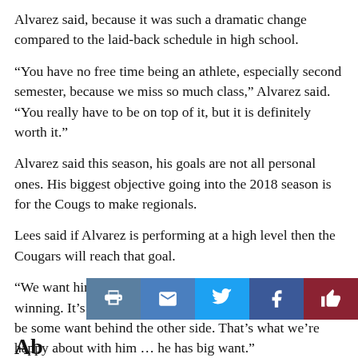Alvarez said, because it was such a dramatic change compared to the laid-back schedule in high school.
“You have no free time being an athlete, especially second semester, because we miss so much class,” Alvarez said. “You really have to be on top of it, but it is definitely worth it.”
Alvarez said this season, his goals are not all personal ones. His biggest objective going into the 2018 season is for the Cougs to make regionals.
Lees said if Alvarez is performing at a high level then the Cougars will reach that goal.
“We want him to get better to help us succeed our goals of winning. It’s a two-way street,” Lees said. “There has to be some want behind the other side. That’s what we’re happy about with him … he has big want.”
[Figure (other): Social share bar with print, email, Twitter, Facebook, and like buttons]
Ab...